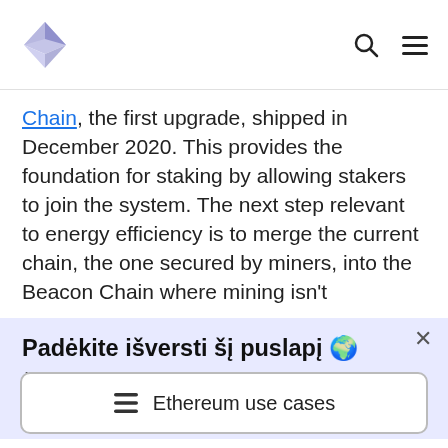Ethereum logo, search icon, menu icon
Chain, the first upgrade, shipped in December 2020. This provides the foundation for staking by allowing stakers to join the system. The next step relevant to energy efficiency is to merge the current chain, the one secured by miners, into the Beacon Chain where mining isn't
Padėkite išversti šį puslapį 🌍
Šį puslapį matote anglų kalba, nes jis dar nėra išverstas. Padėkite mums išversti šį turinį
≡  Ethereum use cases